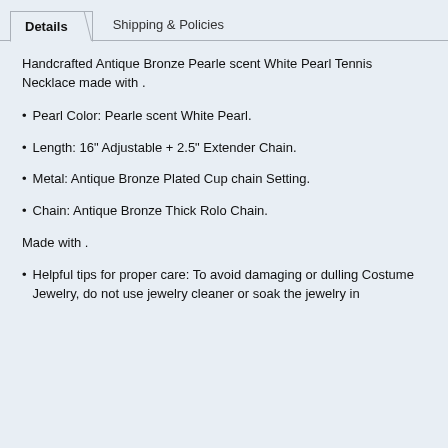Details
Shipping & Policies
Handcrafted Antique Bronze Pearle scent White Pearl Tennis Necklace made with .
Pearl Color: Pearle scent White Pearl.
Length: 16" Adjustable + 2.5" Extender Chain.
Metal: Antique Bronze Plated Cup chain Setting.
Chain: Antique Bronze Thick Rolo Chain.
Made with .
Helpful tips for proper care: To avoid damaging or dulling Costume Jewelry, do not use jewelry cleaner or soak the jewelry in